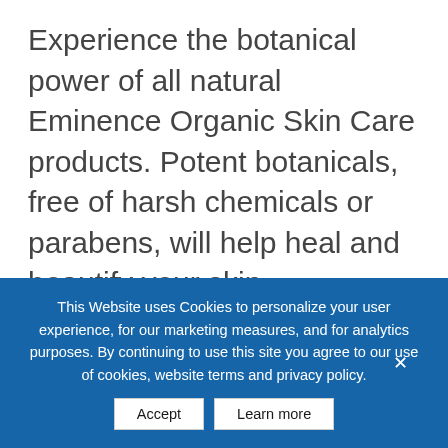Experience the botanical power of all natural Eminence Organic Skin Care products. Potent botanicals, free of harsh chemicals or parabens, will help heal and beautify your skin.
Elevated Wellness Custom Facial
25 Mins  |  $85
50 Mins  |  $159
80 Mins  |  $219
This Website uses Cookies to personalize your user experience, for our marketing measures, and for analytics purposes. By continuing to use this site you agree to our use of cookies, website terms and privacy policy.